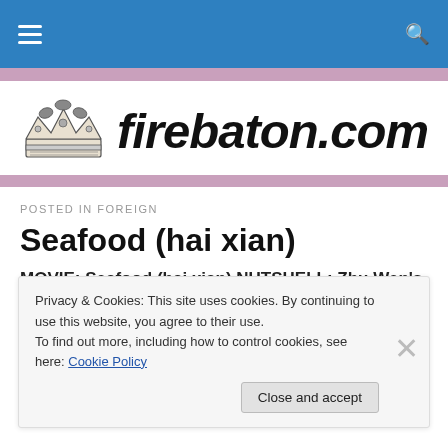firebaton.com navigation bar
[Figure (logo): firebaton.com logo with crown illustration and bold italic text]
POSTED IN FOREIGN
Seafood (hai xian)
MOVIE: Seafood (hai xian) NUTSHELL: Zhu Wen's DV
Privacy & Cookies: This site uses cookies. By continuing to use this website, you agree to their use. To find out more, including how to control cookies, see here: Cookie Policy
Close and accept